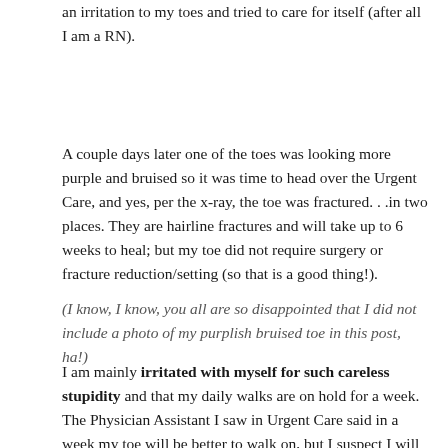an irritation to my toes and tried to care for itself (after all I am a RN).
A couple days later one of the toes was looking more purple and bruised so it was time to head over the Urgent Care, and yes, per the x-ray, the toe was fractured. . .in two places. They are hairline fractures and will take up to 6 weeks to heal; but my toe did not require surgery or fracture reduction/setting (so that is a good thing!).
(I know, I know, you all are so disappointed that I did not include a photo of my purplish bruised toe in this post, ha!)
I am mainly irritated with myself for such careless stupidity and that my daily walks are on hold for a week. The Physician Assistant I saw in Urgent Care said in a week my toe will be better to walk on, but I suspect I will have to take a hiatus from my hiking adventures.